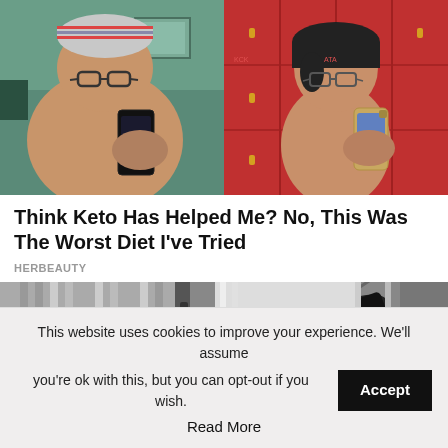[Figure (photo): Before and after photos: left shows a heavier person taking a shirtless mirror selfie with a black phone, wearing a striped beanie and glasses; right shows a slimmer person taking a shirtless mirror selfie in a red locker room backdrop, wearing glasses.]
Think Keto Has Helped Me? No, This Was The Worst Diet I've Tried
HERBEAUTY
[Figure (photo): Partial image of what appears to be an outdoor/urban scene, partially obscured by cookie consent banner.]
This website uses cookies to improve your experience. We'll assume you're ok with this, but you can opt-out if you wish.
Accept
Read More